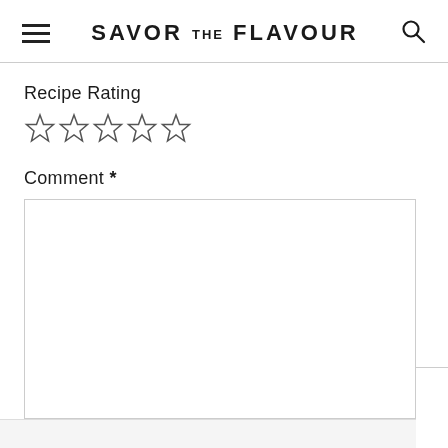SAVOR THE FLAVOUR
Recipe Rating
[Figure (other): Five empty star rating icons in a row]
Comment *
[Figure (other): Empty comment text area input box]